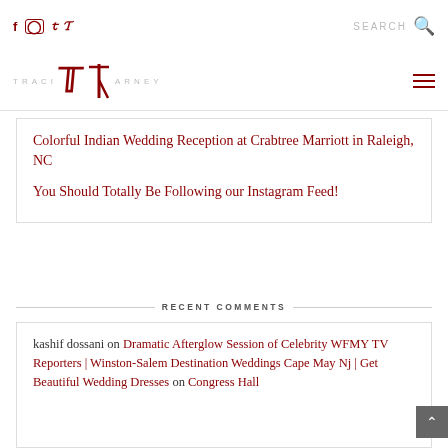Social icons: f, instagram, p, twitter | SEARCH
[Figure (logo): Traci Arney logo with stylized T in dark red]
Colorful Indian Wedding Reception at Crabtree Marriott in Raleigh, NC
You Should Totally Be Following our Instagram Feed!
RECENT COMMENTS
kashif dossani on Dramatic Afterglow Session of Celebrity WFMY TV Reporters | Winston-Salem Destination Weddings Cape May Nj | Get Beautiful Wedding Dresses on Congress Hall